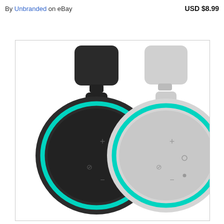By Unbranded on eBay
USD $8.99
[Figure (photo): Product photo showing two Amazon Echo Dot (3rd gen) smart speakers with wall mount holders. Left unit is black with teal LED ring; right unit is white/light grey with teal LED ring. Both shown with a compact wall outlet plug-in mount bracket attached to the top.]